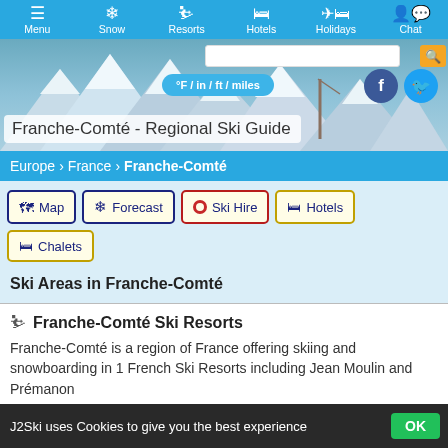Menu | Snow | Resorts | Hotels | Holidays | Chat
[Figure (screenshot): Hero image of snow-covered mountain with ski resort scenery. Overlaid elements include a search bar, °F / in / ft / miles units toggle button, Facebook and Twitter social icons, and a title box reading 'Franche-Comté - Regional Ski Guide'.]
Franche-Comté - Regional Ski Guide
Europe > France > Franche-Comté
Map | Forecast | Ski Hire | Hotels | Chalets
Ski Areas in Franche-Comté
Franche-Comté Ski Resorts
Franche-Comté is a region of France offering skiing and snowboarding in 1 French Ski Resorts including Jean Moulin and Prémanon
J2Ski uses Cookies to give you the best experience